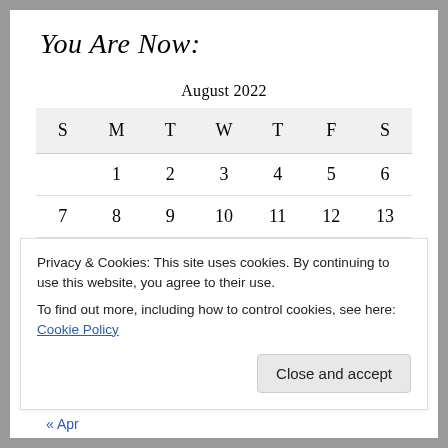You Are Now:
| S | M | T | W | T | F | S |
| --- | --- | --- | --- | --- | --- | --- |
|  | 1 | 2 | 3 | 4 | 5 | 6 |
| 7 | 8 | 9 | 10 | 11 | 12 | 13 |
| 14 | 15 | 16 | 17 | 18 | 19 | 20 |
Privacy & Cookies: This site uses cookies. By continuing to use this website, you agree to their use.
To find out more, including how to control cookies, see here: Cookie Policy
Close and accept
« Apr